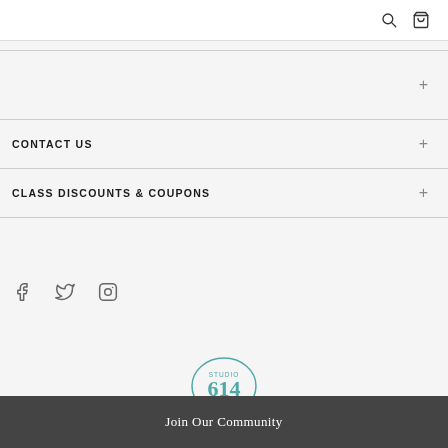[Search icon] [Cart icon]
CONTACT US
CLASS DISCOUNTS & COUPONS
[Figure (illustration): Social media icons: Facebook, Twitter, Instagram]
[Figure (logo): Studio 614 circular badge logo]
Join Our Community